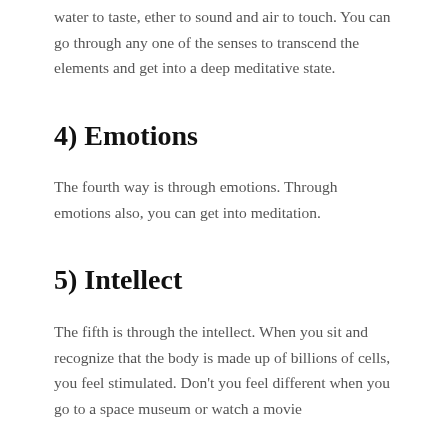water to taste, ether to sound and air to touch. You can go through any one of the senses to transcend the elements and get into a deep meditative state.
4) Emotions
The fourth way is through emotions. Through emotions also, you can get into meditation.
5) Intellect
The fifth is through the intellect. When you sit and recognize that the body is made up of billions of cells, you feel stimulated. Don't you feel different when you go to a space museum or watch a movie